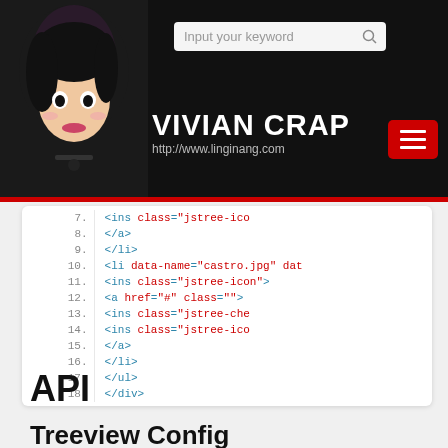[Figure (logo): Vivian Crap website header with cartoon female avatar logo, site title 'VIVIAN CRAP', URL 'http://www.linginang.com', search bar with 'Input your keyword', and hamburger menu button]
7.                <ins class="jstree-ico
8.            </a>
9.        </li>
10.            <li data-name="castro.jpg" dat
11.                <ins class="jstree-icon">
12.            <a href="#" class="">
13.                    <ins class="jstree-che
14.                    <ins class="jstree-ico
15.            </a>
16.        </li>
17.    </ul>
18. </div>
API
Treeview Config